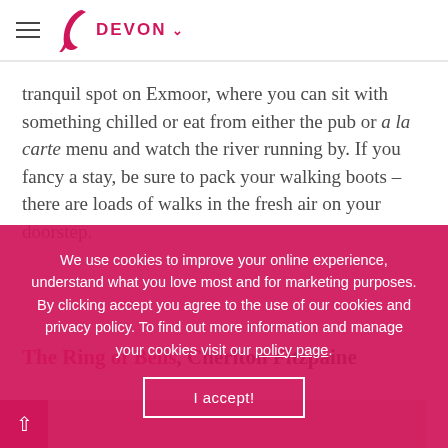DEVON
tranquil spot on Exmoor, where you can sit with something chilled or eat from either the pub or a la carte menu and watch the river running by. If you fancy a stay, be sure to pack your walking boots – there are loads of walks in the fresh air on your doorstep.
The Ring of Bells, Cheriton Fitzpaine
[Figure (photo): Photo of a pink rose and what appears to be a coffee cup in the background]
We use cookies to improve your online experience, understand what you love most and for marketing purposes. By clicking accept you agree to the use of our cookies and privacy policy. To find out more information and manage your cookies visit our policy page.
I accept!